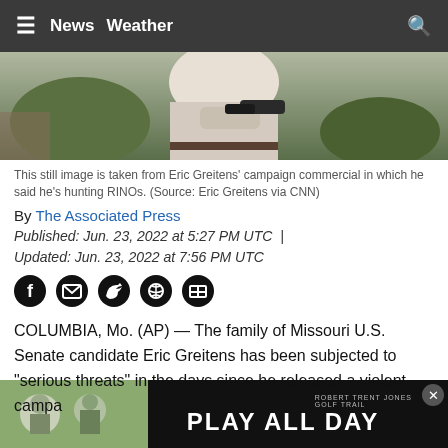News  Weather
[Figure (photo): Still image from Eric Greitens campaign commercial showing person holding a firearm outdoors]
This still image is taken from Eric Greitens' campaign commercial in which he said he's hunting RINOs.  (Source: Eric Greitens via CNN)
By The Associated Press
Published: Jun. 23, 2022 at 5:27 PM UTC | Updated: Jun. 23, 2022 at 7:56 PM UTC
[Figure (infographic): Social media share icons: Facebook, Email, Twitter, Pinterest, LinkedIn]
COLUMBIA, Mo. (AP) — The family of Missouri U.S. Senate candidate Eric Greitens has been subjected to "serious threats" in the days since he released a violent campa... RINOs... his
[Figure (photo): Advertisement: Play All Day - Robert Trent Jones Golf Trail]